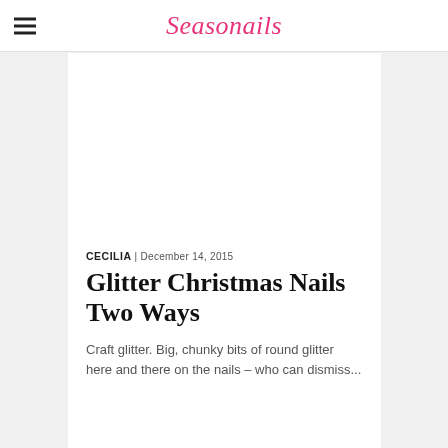Seasonails
[Figure (photo): Photo area for nail art blog post, shown as white/blank space above the article text]
CECILIA | December 14, 2015
Glitter Christmas Nails Two Ways
Craft glitter. Big, chunky bits of round glitter here and there on the nails – who can dismiss...